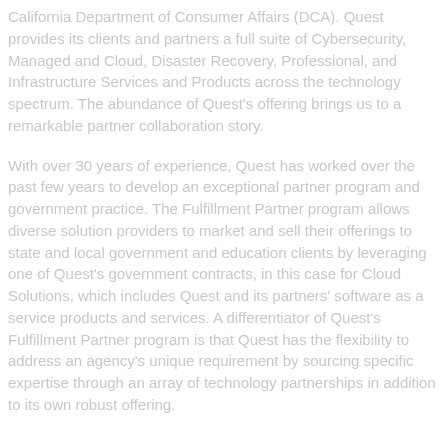California Department of Consumer Affairs (DCA). Quest provides its clients and partners a full suite of Cybersecurity, Managed and Cloud, Disaster Recovery, Professional, and Infrastructure Services and Products across the technology spectrum. The abundance of Quest's offering brings us to a remarkable partner collaboration story.
With over 30 years of experience, Quest has worked over the past few years to develop an exceptional partner program and government practice. The Fulfillment Partner program allows diverse solution providers to market and sell their offerings to state and local government and education clients by leveraging one of Quest's government contracts, in this case for Cloud Solutions, which includes Quest and its partners' software as a service products and services. A differentiator of Quest's Fulfillment Partner program is that Quest has the flexibility to address an agency's unique requirement by sourcing specific expertise through an array of technology partnerships in addition to its own robust offering.